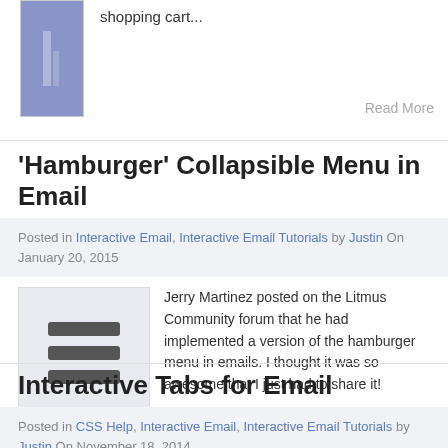[Figure (photo): Partial image of a blue/purple graphic, cropped at top]
shopping cart...
Read More
'Hamburger' Collapsible Menu in Email
Posted in Interactive Email, Interactive Email Tutorials by Justin On January 20, 2015
[Figure (illustration): Hamburger menu icon with three horizontal lines on a light grey background]
Jerry Martinez posted on the Litmus Community forum that he had implemented a version of the hamburger menu in emails. I thought it was so awesome that I just had to share it!
Read More
Interactive Tabs for Email
Posted in CSS Help, Interactive Email, Interactive Email Tutorials by Justin On November 18, 2014